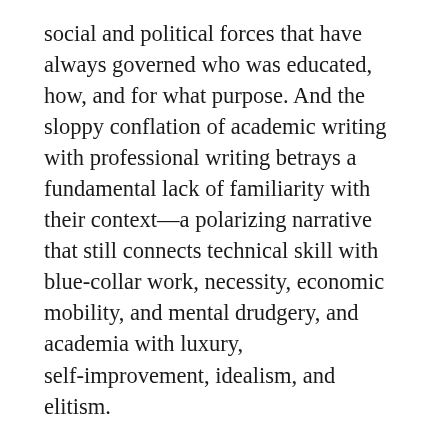social and political forces that have always governed who was educated, how, and for what purpose. And the sloppy conflation of academic writing with professional writing betrays a fundamental lack of familiarity with their context—a polarizing narrative that still connects technical skill with blue-collar work, necessity, economic mobility, and mental drudgery, and academia with luxury, self-improvement, idealism, and elitism.
It's important for teachers to actively question damaging narratives that reinforce the binary between vocational and liberal education, just as it is crucial that we recognize the historical differences between the two. Furthermore,